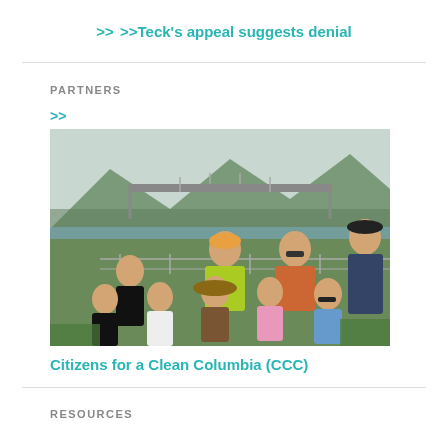>>Teck's appeal suggests denial
PARTNERS
[Figure (photo): Group photo of Citizens for a Clean Columbia (CCC) members posing outdoors near a bridge and river. Eight people of various ages, some standing and some sitting on the ground. One person wearing a bright green shirt, another in a colorful patterned shirt, others in casual attire. Mountains and greenery in the background.]
Citizens for a Clean Columbia (CCC)
RESOURCES